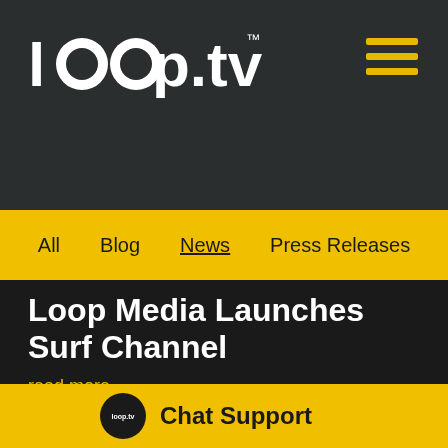[Figure (logo): loop.tv logo in white text with circular 'o' on dark background, hamburger menu icon in yellow top right]
All  Blog  News  Press Releases
Loop Media Launches Surf Channel
read more
[Figure (photo): Photo of makeup brushes on white background with green leaves in corner, partially visible]
Chat Support